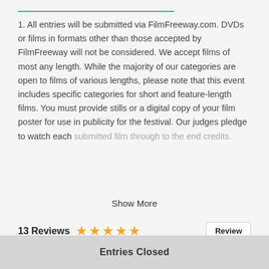1. All entries will be submitted via FilmFreeway.com. DVDs or films in formats other than those accepted by FilmFreeway will not be considered. We accept films of most any length. While the majority of our categories are open to films of various lengths, please note that this event includes specific categories for short and feature-length films. You must provide stills or a digital copy of your film poster for use in publicity for the festival. Our judges pledge to watch each submitted film through to the end credits.
Show More
13 Reviews ★★★★★ Review
Overall Rating     Communication
Entries Closed